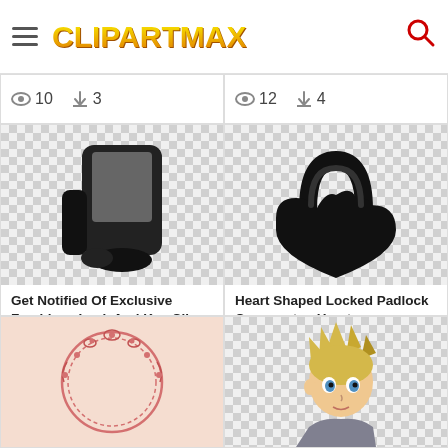ClipArtMax
👁 10  ⬇ 3
👁 12  ⬇ 4
[Figure (illustration): Black and gray cartoon lock/phone device illustration on checkered transparent background]
[Figure (illustration): Heart-shaped padlock silhouette in black on checkered transparent background]
Get Notified Of Exclusive Freebies - Lock And Key Clip
Heart Shaped Locked Padlock Comments - Heart
👁 6  ⬇ 1
👁 11  ⬇ 5
[Figure (illustration): Decorative floral circle frame illustration in pink/salmon on light background]
[Figure (illustration): Anime character with spiky blonde hair on checkered transparent background]